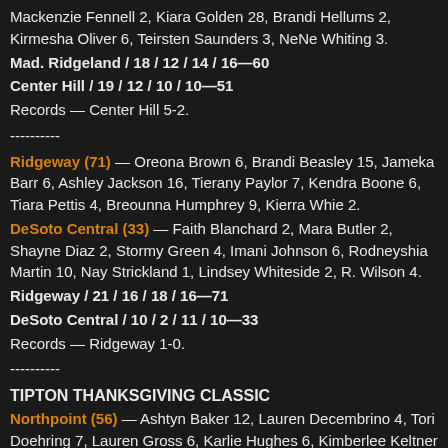Mackenzie Fennell 2, Kiara Golden 28, Brandi Hellums 2, Kirmesha Oliver 6, Teirsten Saunders 3, NeNe Whiting 3.
Mad. Ridgeland / 18 / 12 / 14 / 16—60
Center Hill / 19 / 12 / 10 / 10—51
Records — Center Hill 5-2.
----------
Ridgeway (71) — Oreona Brown 6, Brandi Beasley 15, Jameka Barr 6, Ashley Jackson 16, Tierany Paylor 7, Kendra Boone 6, Tiara Pettis 4, Breounna Humphrey 9, Kierra Whie 2.
DeSoto Central (33) — Faith Blanchard 2, Mara Butler 2, Shayne Diaz 2, Stormy Green 4, Imani Johnson 6, Rodneyshia Martin 10, Nay Strickland 1, Lindsey Whiteside 2, R. Wilson 4.
Ridgeway / 21 / 16 / 18 / 16—71
DeSoto Central / 10 / 2 / 11 / 10—33
Records — Ridgeway 1-0.
----------
TIPTON THANKSGIVING CLASSIC
Northpoint (56) — Ashtyn Baker 12, Lauren Decembrino 4, Tori Doehring 7, Lauren Gross 6, Karlie Hughes 6, Kimberlee Keltner 6, Hannah Shafer 4, Andrea Sparkman